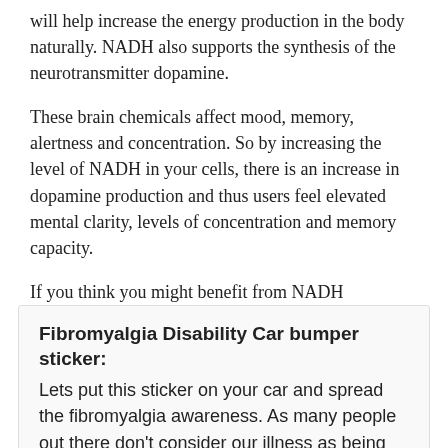will help increase the energy production in the body naturally. NADH also supports the synthesis of the neurotransmitter dopamine.
These brain chemicals affect mood, memory, alertness and concentration. So by increasing the level of NADH in your cells, there is an increase in dopamine production and thus users feel elevated mental clarity, levels of concentration and memory capacity.
If you think you might benefit from NADH supplements, be sure to talk to your doctor about it. It's also a good idea to bring it up with your pharmacist, who's an expert on how different treatments may interact in your body.
Fibromyalgia Disability Car bumper sticker: Lets put this sticker on your car and spread the fibromyalgia awareness. As many people out there don't consider our illness as being disable, because they don't know it. – Click